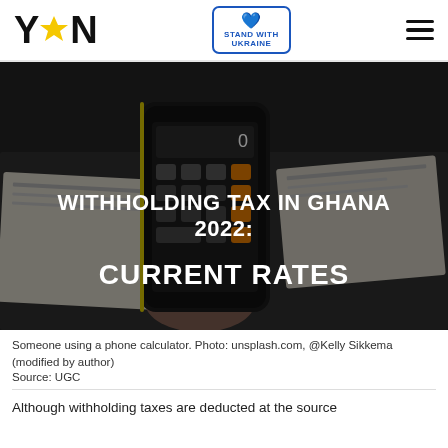YEN | STAND WITH UKRAINE
[Figure (photo): Hero image showing someone holding a smartphone displaying a calculator app, over documents on a desk. Dark background. Article title overlay reads: WITHHOLDING TAX IN GHANA 2022: CURRENT RATES]
Someone using a phone calculator. Photo: unsplash.com, @Kelly Sikkema (modified by author)
Source: UGC
Although withholding taxes are deducted at the source